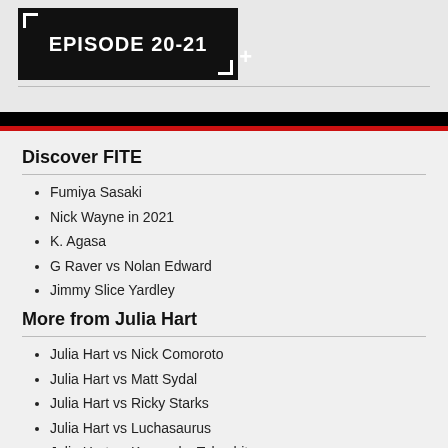[Figure (screenshot): Episode 20-21 thumbnail image with bracket corners and plus sign on dark background]
Discover FITE
Fumiya Sasaki
Nick Wayne in 2021
K. Agasa
G Raver vs Nolan Edward
Jimmy Slice Yardley
More from Julia Hart
Julia Hart vs Nick Comoroto
Julia Hart vs Matt Sydal
Julia Hart vs Ricky Starks
Julia Hart vs Luchasaurus
Julia Hart vs Konosuke Takeshita